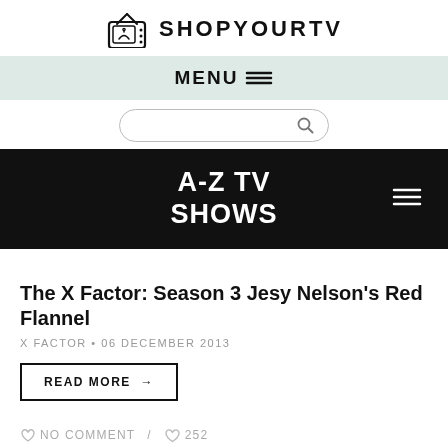SHOPYOURTV
MENU ≡
[Figure (other): Search input field with magnifying glass icon]
A-Z TV SHOWS
The X Factor: Season 3 Jesy Nelson's Red Flannel
X FACTOR • 06 DECEMBER 2013
READ MORE →
NO COMMENT / 252